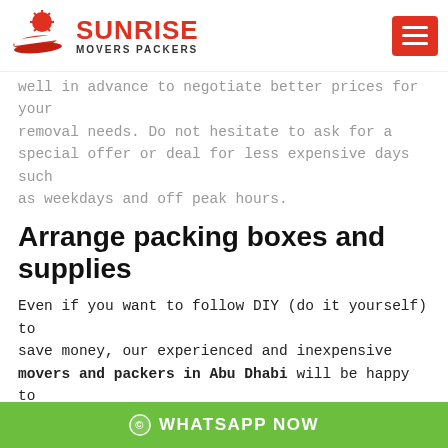[Figure (logo): Sunrise Movers Packers logo with red sun and swoosh graphic, company name in red bold uppercase, subtitle MOVERS PACKERS in dark bold uppercase, and hamburger menu icon in red on the right]
well in advance to negotiate better prices for your removal needs. Do not hesitate to ask for a special offer or deal for less expensive days such as weekdays and off peak hours.
Arrange packing boxes and supplies
Even if you want to follow DIY (do it yourself) to save money, our experienced and inexpensive movers and packers in Abu Dhabi will be happy to help you save money by arranging good quality
© WHATSAPP NOW